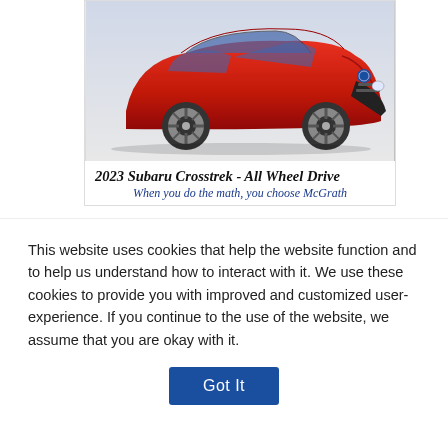[Figure (photo): Advertisement image of a red 2023 Subaru Crosstrek SUV with text '2023 Subaru Crosstrek - All Wheel Drive' and 'When you do the math, you choose McGrath']
View all sponsors
TAGS:
9/11
TERRORISM
ALBERTO COLL
AMERICAN HISTORY
[Figure (screenshot): WTTW News logo and thumbnail image for newsletter signup]
Sign up for our morning newsletter to
This website uses cookies that help the website function and to help us understand how to interact with it. We use these cookies to provide you with improved and customized user-experience. If you continue to the use of the website, we assume that you are okay with it.
Got It